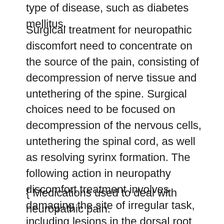type of disease, such as diabetes mellitus.
Surgical treatment for neuropathic discomfort need to concentrate on the source of the pain, consisting of decompression of nerve tissue and untethering of the spine. Surgical choices need to be focused on decompression of the nervous cells, untethering the spinal cord, as well as resolving syrinx formation. The following action in neuropathy discomfort treatment involves damaging the site of irregular task, including lesions in the dorsal root entry area.
{ Medications used to deal with neuropathic pain.